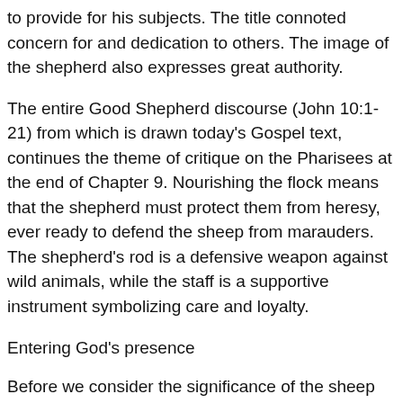to provide for his subjects. The title connoted concern for and dedication to others. The image of the shepherd also expresses great authority.
The entire Good Shepherd discourse (John 10:1-21) from which is drawn today's Gospel text, continues the theme of critique on the Pharisees at the end of Chapter 9. Nourishing the flock means that the shepherd must protect them from heresy, ever ready to defend the sheep from marauders. The shepherd's rod is a defensive weapon against wild animals, while the staff is a supportive instrument symbolizing care and loyalty.
Entering God's presence
Before we consider the significance of the sheep gate, let us recall that in ancient Israel, the gates of Zion symbolized the very idea of entrance into God's